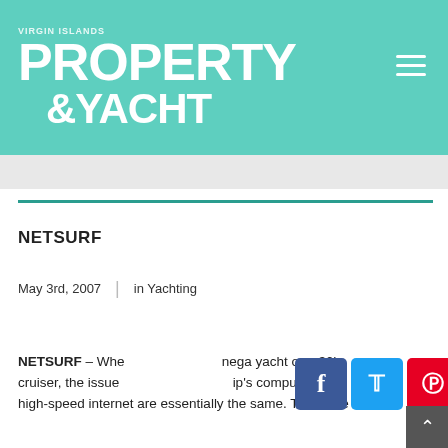VIRGIN ISLANDS PROPERTY & YACHT
NETSURF
May 3rd, 2007   |   in Yachting
NETSURF – Whe[ther you're on a] mega yacht or a 30' cruiser, the issue [of connecting a sh]ip's computer to high-speed internet are essentially the same. There are